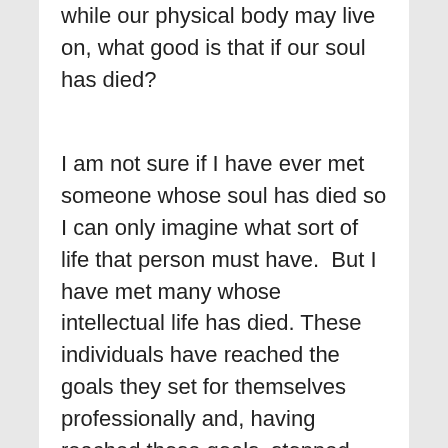while our physical body may live on, what good is that if our soul has died?
I am not sure if I have ever met someone whose soul has died so I can only imagine what sort of life that person must have.  But I have met many whose intellectual life has died.  These individuals have reached the goals they set for themselves professionally and, having reached those goals, stopped learning.  Such individuals are quite literally out of touch with today's society.  I have